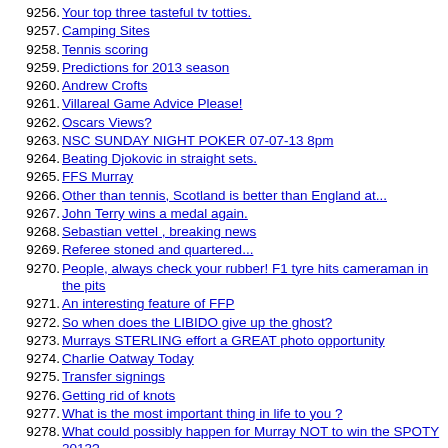9256. Your top three tasteful tv totties.
9257. Camping Sites
9258. Tennis scoring
9259. Predictions for 2013 season
9260. Andrew Crofts
9261. Villareal Game Advice Please!
9262. Oscars Views?
9263. NSC SUNDAY NIGHT POKER 07-07-13 8pm
9264. Beating Djokovic in straight sets.
9265. FFS Murray
9266. Other than tennis, Scotland is better than England at...
9267. John Terry wins a medal again.
9268. Sebastian vettel , breaking news
9269. Referee stoned and quartered...
9270. People, always check your rubber! F1 tyre hits cameraman in the pits
9271. An interesting feature of FFP
9272. So when does the LIBIDO give up the ghost?
9273. Murrays STERLING effort a GREAT photo opportunity
9274. Charlie Oatway Today
9275. Transfer signings
9276. Getting rid of knots
9277. What is the most important thing in life to you ?
9278. What could possibly happen for Murray NOT to win the SPOTY 2013?
9279. A feel good thread of ICONOANTHEMIC songs
9280. What did you do after the tennis was over, and what did you have for dinner?
9281. BRIGHTON MARCH 10,000 views
9282. Went on a stadium tour today.